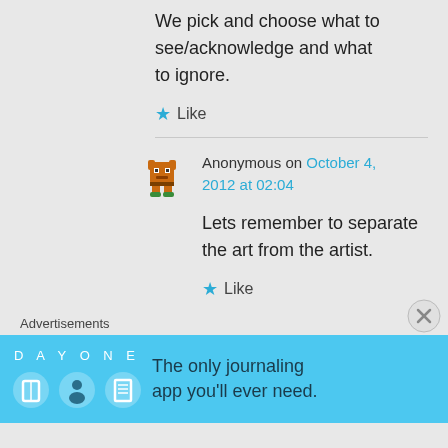We pick and choose what to see/acknowledge and what to ignore.
Like
Anonymous on October 4, 2012 at 02:04
Lets remember to separate the art from the artist.
Like
Advertisements
[Figure (screenshot): Blue advertisement banner for Day One journaling app with icons and text 'The only journaling app you'll ever need.']